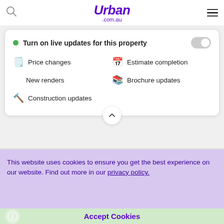Urban .com.au
Turn on live updates for this property
Price changes
Estimate completion
New renders
Brochure updates
Construction updates
This website uses cookies to ensure you get the best experience on our website. Find out more in our privacy policy.
Accept Cookies